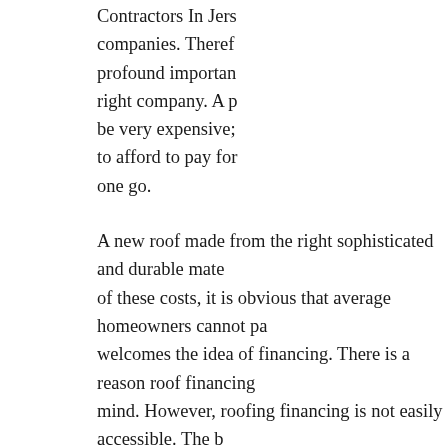Contractors In Jersey companies. Therefore profound importance right company. A p be very expensive; to afford to pay for one go.
A new roof made from the right sophisticated and durable mate of these costs, it is obvious that average homeowners cannot pa welcomes the idea of financing. There is a reason roof financing mind. However, roofing financing is not easily accessible. The b bank or a credit agency for that matter
Most roofing companies do not offer to finance. This does not m roofing company that can finance you; there exist few large con almost all small and medium size companies do not finance. Th most roofing companies do not finance. We will go through ther